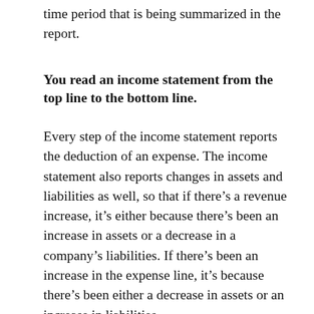time period that is being summarized in the report.
You read an income statement from the top line to the bottom line.
Every step of the income statement reports the deduction of an expense. The income statement also reports changes in assets and liabilities as well, so that if there’s a revenue increase, it’s either because there’s been an increase in assets or a decrease in a company’s liabilities. If there’s been an increase in the expense line, it’s because there’s been either a decrease in assets or an increase in liabilities.